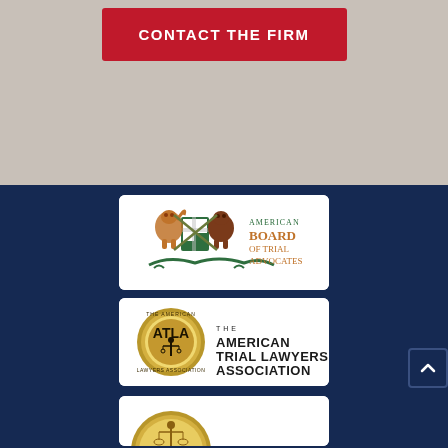CONTACT THE FIRM
[Figure (logo): American Board of Trial Advocates (ABOTA) logo — heraldic crest with lion and bear flanking a shield, green decorative elements, with text 'American Board of Trial Advocates' in green and orange-brown serif font]
[Figure (logo): The American Trial Lawyers Association (ATLA) logo — circular gold/tan seal with figure of justice, text 'ATLA' and 'Trial Lawyers Association' around the seal, bold black text 'THE AMERICAN TRIAL LAWYERS ASSOCIATION' to the right]
[Figure (logo): Partial logo — gold figure of justice (Lady Justice with scales) on white background, partially visible at bottom of page]